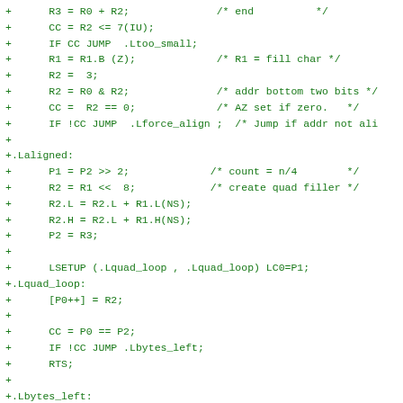Assembly/C code snippet showing Blackfin DSP memset-like routine with aligned quad-word loop